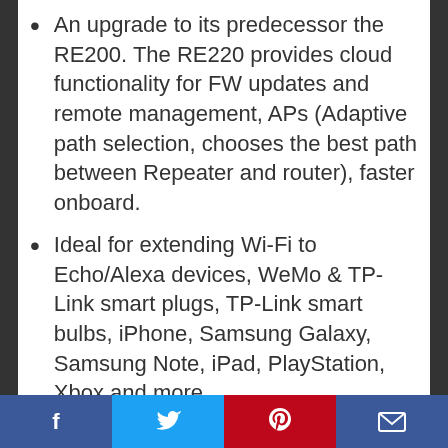An upgrade to its predecessor the RE200. The RE220 provides cloud functionality for FW updates and remote management, APs (Adaptive path selection, chooses the best path between Repeater and router), faster onboard.
Ideal for extending Wi-Fi to Echo/Alexa devices, WeMo & TP-Link smart plugs, TP-Link smart bulbs, iPhone, Samsung Galaxy, Samsung Note, iPad, PlayStation, Xbox and more.
Works with any standard router or
Facebook | Twitter | Pinterest | Email